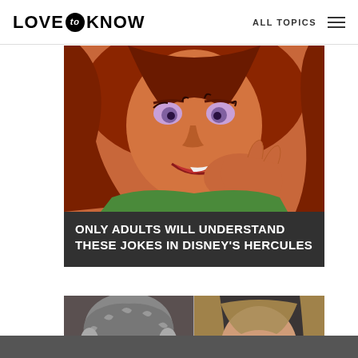LOVE to KNOW   ALL TOPICS
[Figure (illustration): Animated character from Disney's Hercules - Megara with red/auburn hair, orange skin tone, smirking expression, in close-up cartoon illustration]
ONLY ADULTS WILL UNDERSTAND THESE JOKES IN DISNEY'S HERCULES
[Figure (photo): Side-by-side photos of two male actors: left side shows a middle-aged man with gray-streaked curly hair, right side shows a younger man with long straight blonde/brown hair]